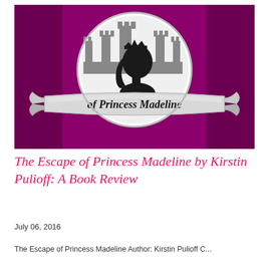[Figure (logo): Circular logo with a white globe-like shape on a deep magenta/purple background. Inside the circle is a gray castle silhouette and a black silhouette of a girl's head in profile with a crown. A silver scrolled banner across the bottom reads 'of Princess Madeline' in black italic serif script.]
The Escape of Princess Madeline by Kirstin Pulioff: A Book Review
July 06, 2016
The Escape of Princess Madeline Author: Kirstin Pulioff C...